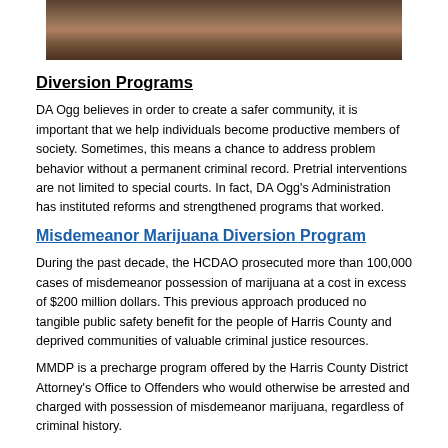[Figure (photo): Photo of people at a table, partially visible at top of page]
Diversion Programs
DA Ogg believes in order to create a safer community, it is important that we help individuals become productive members of society.  Sometimes, this means a chance to address problem behavior without a permanent criminal record.  Pretrial interventions are not limited to special courts.  In fact, DA Ogg's Administration has instituted reforms and strengthened programs that worked.
Misdemeanor Marijuana Diversion Program
During the past decade, the HCDAO prosecuted more than 100,000 cases of misdemeanor possession of marijuana at a cost in excess of $200 million dollars. This previous approach produced no tangible public safety benefit for the people of Harris County and deprived communities of valuable criminal justice resources.
MMDP is a precharge program offered by the Harris County District Attorney's Office to Offenders who would otherwise be arrested and charged with possession of misdemeanor marijuana, regardless of criminal history.